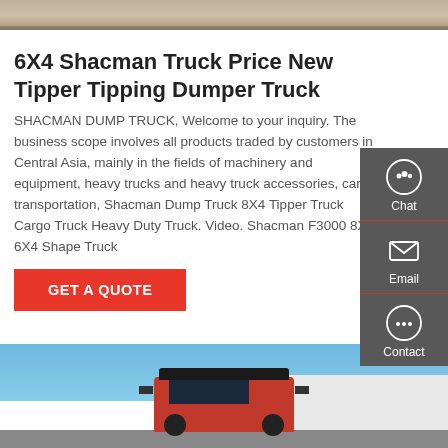[Figure (photo): Top portion of a vehicle/truck image, light beige/tan colored surface]
6X4 Shacman Truck Price New Tipper Tipping Dumper Truck
SHACMAN DUMP TRUCK, Welcome to your inquiry. The business scope involves all products traded by customers in Central Asia, mainly in the fields of machinery and equipment, heavy trucks and heavy truck accessories, cargo transportation, Shacman Dump Truck 8X4 Tipper Truck Cargo Truck Heavy Duty Truck. Video. Shacman F3000 8X4 6X4 Shape Truck
[Figure (infographic): Dark grey sidebar panel with Chat, Email, and Contact icons]
[Figure (photo): Bottom photo of a red Shacman truck cab against a blue sky and white building]
GET A QUOTE